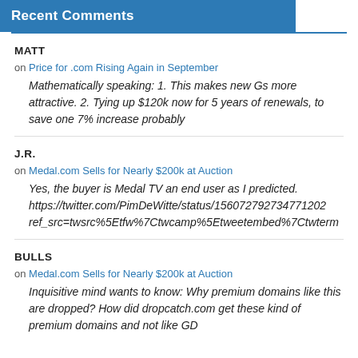Recent Comments
MATT
on Price for .com Rising Again in September
Mathematically speaking: 1. This makes new Gs more attractive. 2. Tying up $120k now for 5 years of renewals, to save one 7% increase probably
J.R.
on Medal.com Sells for Nearly $200k at Auction
Yes, the buyer is Medal TV an end user as I predicted. https://twitter.com/PimDeWitte/status/1560727927347712002 ref_src=twsrc%5Etfw%7Ctwcamp%5Etweetembed%7Ctwterm
BULLS
on Medal.com Sells for Nearly $200k at Auction
Inquisitive mind wants to know: Why premium domains like this are dropped? How did dropcatch.com get these kind of premium domains and not like GD